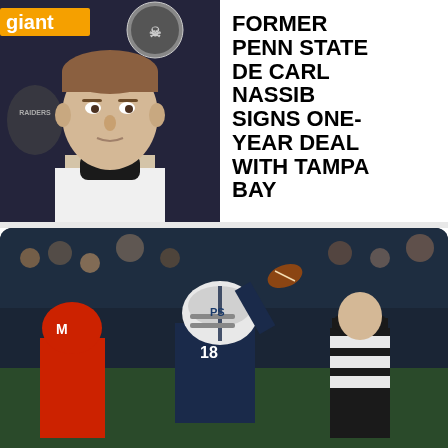[Figure (photo): Carl Nassib at Raiders press conference podium, wearing white tank top and black neck gaiter, Raiders logo visible in background, 'giant' text visible on banner]
FORMER PENN STATE DE CARL NASSIB SIGNS ONE-YEAR DEAL WITH TAMPA BAY
[Figure (photo): Penn State football player in white helmet and navy uniform throwing a pass, referee in black and white stripes visible in background, crowd in background]